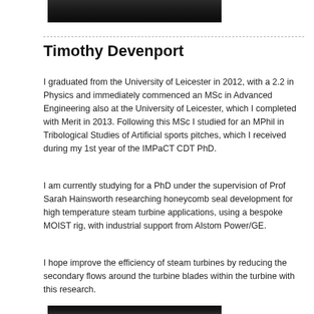[Figure (photo): Top portion of a person's photo, cropped at the top of the page]
Timothy Devenport
I graduated from the University of Leicester in 2012, with a 2.2 in Physics and immediately commenced an MSc in Advanced Engineering also at the University of Leicester, which I completed with Merit in 2013. Following this MSc I studied for an MPhil in Tribological Studies of Artificial sports pitches, which I received during my 1st year of the IMPaCT CDT PhD.
I am currently studying for a PhD under the supervision of Prof Sarah Hainsworth researching honeycomb seal development for high temperature steam turbine applications, using a bespoke MOIST rig, with industrial support from Alstom Power/GE.
I hope improve the efficiency of steam turbines by reducing the secondary flows around the turbine blades within the turbine with this research.
[Figure (photo): Bottom portion of another photo, cropped at the bottom of the page]